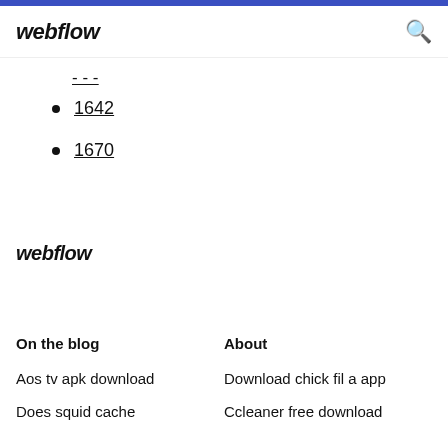webflow
---
1642
1670
webflow
On the blog
About
Aos tv apk download
Download chick fil a app
Does squid cache
Ccleaner free download